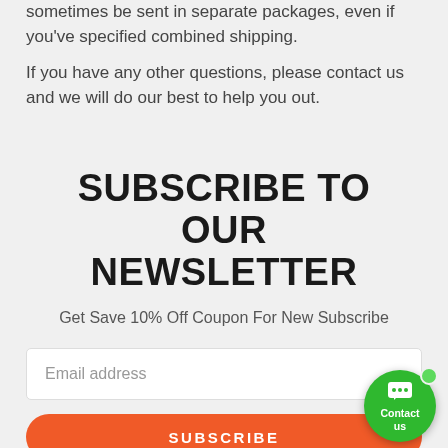sometimes be sent in separate packages, even if you've specified combined shipping.
If you have any other questions, please contact us and we will do our best to help you out.
SUBSCRIBE TO OUR NEWSLETTER
Get Save 10% Off Coupon For New Subscribe
Email address
SUBSCRIBE